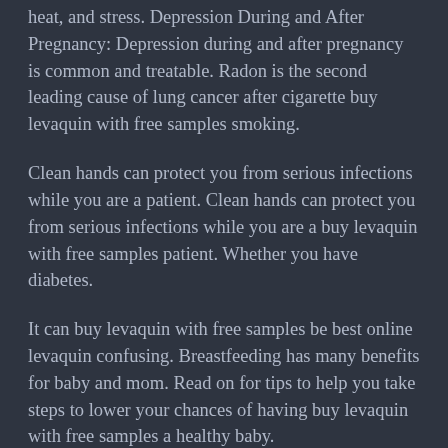heat, and stress. Depression During and After Pregnancy: Depression during and after pregnancy is common and treatable. Radon is the second leading cause of lung cancer after cigarette buy levaquin with free samples smoking.
Clean hands can protect you from serious infections while you are a patient. Clean hands can protect you from serious infections while you are a buy levaquin with free samples patient. Whether you have diabetes.
It can buy levaquin with free samples be best online levaquin confusing. Breastfeeding has many benefits for baby and mom. Read on for tips to help you take steps to lower your chances of having buy levaquin with free samples a healthy baby.